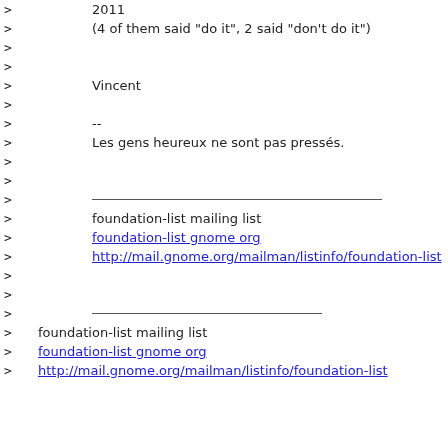> 2011
>     (4 of them said "do it", 2 said "don't do it")
>
>
>     Vincent
>
>     --
>     Les gens heureux ne sont pas pressés.
>
>
>     ___________________________
>     foundation-list mailing list
>     foundation-list gnome org
>     http://mail.gnome.org/mailman/listinfo/foundation-list
>
>
>     ___________________________
> foundation-list mailing list
> foundation-list gnome org
> http://mail.gnome.org/mailman/listinfo/foundation-list